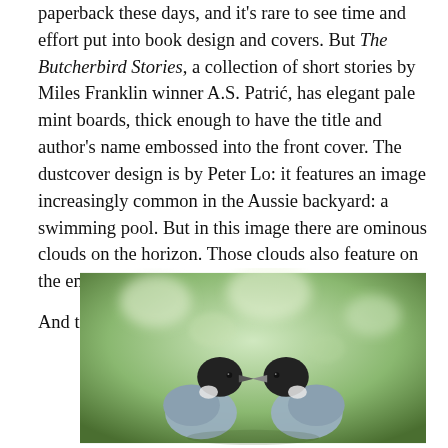paperback these days, and it's rare to see time and effort put into book design and covers. But The Butcherbird Stories, a collection of short stories by Miles Franklin winner A.S. Patrić, has elegant pale mint boards, thick enough to have the title and author's name embossed into the front cover. The dustcover design is by Peter Lo: it features an image increasingly common in the Aussie backyard: a swimming pool. But in this image there are ominous clouds on the horizon. Those clouds also feature on the endpapers.
And then there's the title…
[Figure (photo): Two grey and black butcherbirds facing each other against a blurred green foliage background.]